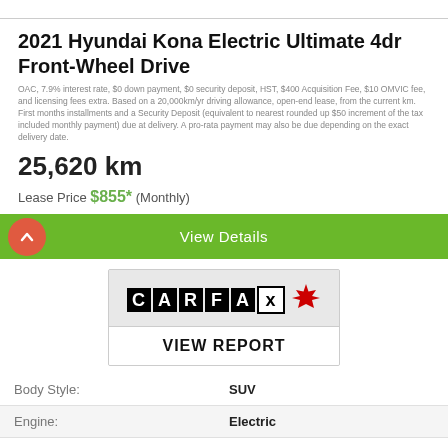2021 Hyundai Kona Electric Ultimate 4dr Front-Wheel Drive
OAC, 7.9% interest rate, $0 down payment, $0 security deposit, HST, $400 Acquisition Fee, $10 OMVIC fee, and licensing fees extra. Based on a 20,000km/yr driving allowance, open-end lease, from the current km. First months installments and a Security Deposit (equivalent to nearest rounded up $50 increment of the tax included monthly payment) due at delivery. A pro-rata payment may also be due depending on the exact delivery date.
25,620 km
Lease Price $855* (Monthly)
View Details
[Figure (logo): CARFAX Canada logo with maple leaf]
VIEW REPORT
| Body Style: | SUV |
| Engine: | Electric |
| Exterior Colour: | White |
| Transmission: | Automatic |